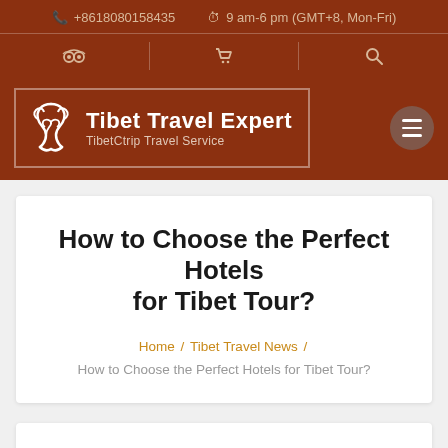+8618080158435  9 am-6 pm (GMT+8, Mon-Fri)
[Figure (logo): Tibet Travel Expert / TibetCtrip Travel Service logo with Tibetan knot icon and navigation icons (TripAdvisor, cart, search) and hamburger menu button]
How to Choose the Perfect Hotels for Tibet Tour?
Home / Tibet Travel News / How to Choose the Perfect Hotels for Tibet Tour?
How to Choose the Perfect